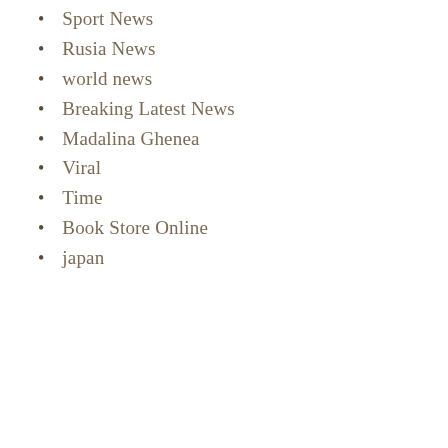Sport News
Rusia News
world news
Breaking Latest News
Madalina Ghenea
Viral
Time
Book Store Online
japan